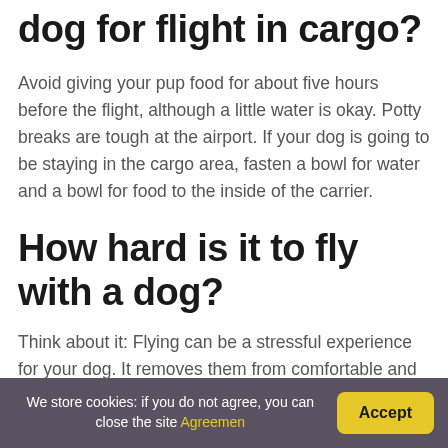dog for flight in cargo?
Avoid giving your pup food for about five hours before the flight, although a little water is okay. Potty breaks are tough at the airport. If your dog is going to be staying in the cargo area, fasten a bowl for water and a bowl for food to the inside of the carrier.
How hard is it to fly with a dog?
Think about it: Flying can be a stressful experience for your dog. It removes them from comfortable and
We store cookies: if you do not agree, you can close the site Agreemen  Accept